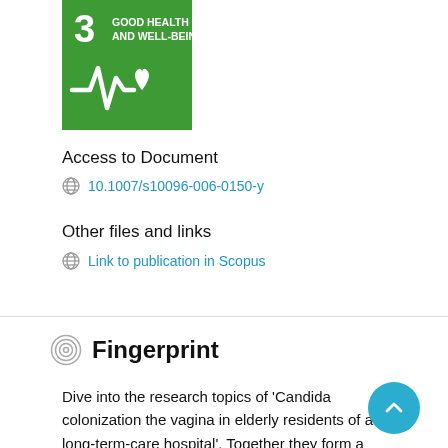[Figure (logo): UN SDG Goal 3 Good Health and Well-Being green icon with heartbeat and heart symbol]
Access to Document
10.1007/s10096-006-0150-y
Other files and links
Link to publication in Scopus
Fingerprint
Dive into the research topics of 'Candida colonization the vagina in elderly residents of a long-term-care hospital'. Together they form a unique fingerprint.